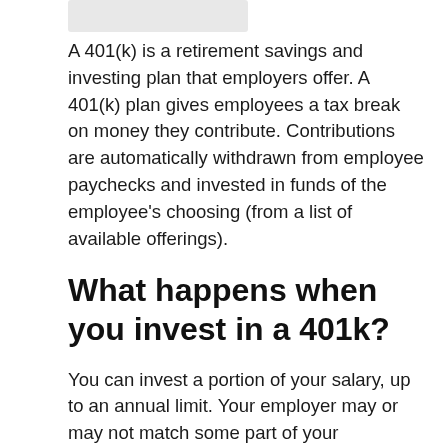A 401(k) is a retirement savings and investing plan that employers offer. A 401(k) plan gives employees a tax break on money they contribute. Contributions are automatically withdrawn from employee paychecks and invested in funds of the employee's choosing (from a list of available offerings).
What happens when you invest in a 401k?
You can invest a portion of your salary, up to an annual limit. Your employer may or may not match some part of your contribution. The money will be invested for your